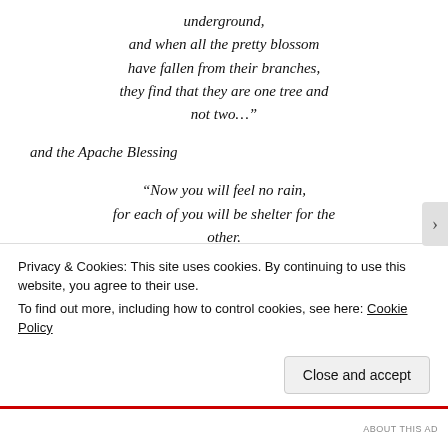underground,
and when all the pretty blossom
have fallen from their branches,
they find that they are one tree and
not two…"
and the Apache Blessing
“Now you will feel no rain,
for each of you will be shelter for the
other.
Now you will feel no cold,
Privacy & Cookies: This site uses cookies. By continuing to use this website, you agree to their use.
To find out more, including how to control cookies, see here: Cookie Policy
Close and accept
ABOUT THIS AD